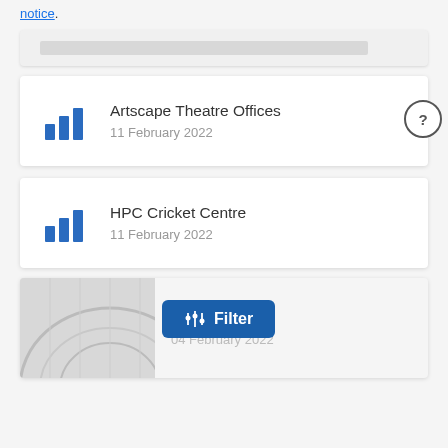notice.
[Figure (screenshot): Partially visible card (truncated top)]
Artscape Theatre Offices
11 February 2022
HPC Cricket Centre
11 February 2022
dquarters
04 February 2022
Filter